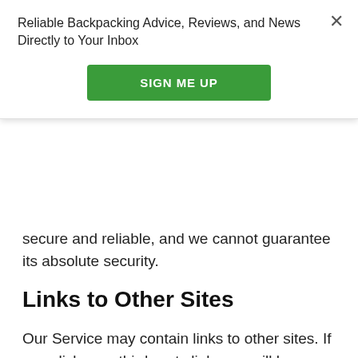Reliable Backpacking Advice, Reviews, and News Directly to Your Inbox
[Figure (other): Green 'SIGN ME UP' button for newsletter subscription]
secure and reliable, and we cannot guarantee its absolute security.
Links to Other Sites
Our Service may contain links to other sites. If you click on a third-party link, you will be directed to that site. Note that these external sites are not operated by us. Therefore, we strongly advise you to review the Privacy Policy of these websites. We have no control over, and assume no responsibility for the content, privacy policies, or practices of any third-party sites or services.